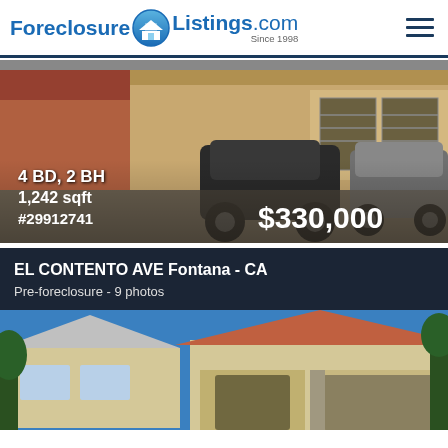ForeclosureListings.com Since 1998
[Figure (photo): Foreclosure listing photo of a single-story house with two-car garage, black SUV and gray minivan parked in driveway. Overlay text shows 4 BD, 2 BH / 1,242 sqft / #29912741 / $330,000]
EL CONTENTO AVE Fontana - CA
Pre-foreclosure - 9 photos
[Figure (photo): Pre-foreclosure listing photo of a two-story stucco house with red tile roof and attached garage, blue sky background in Fontana CA]